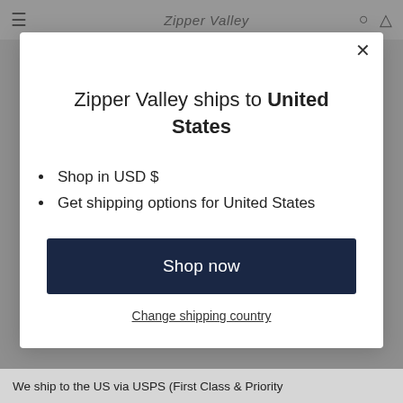Zipper Valley ships to United States
Shop in USD $
Get shipping options for United States
Shop now
Change shipping country
We ship to the US via USPS (First Class & Priority